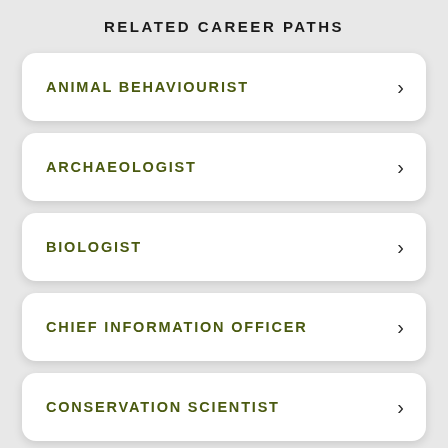RELATED CAREER PATHS
ANIMAL BEHAVIOURIST
ARCHAEOLOGIST
BIOLOGIST
CHIEF INFORMATION OFFICER
CONSERVATION SCIENTIST